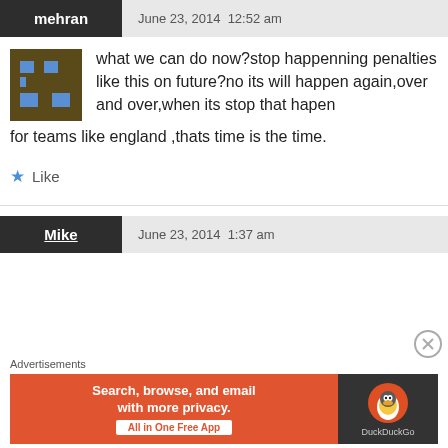mehran   June 23, 2014  12:52 am
what we can do now?stop happenning penalties like this on future?no its will happen again,over and over,when its stop that hapen for teams like england ,thats time is the time.
★ Like
Mike   June 23, 2014  1:37 am
Advertisements
[Figure (screenshot): DuckDuckGo advertisement banner: orange background with text 'Search, browse, and email with more privacy. All in One Free App' and DuckDuckGo logo on dark background]